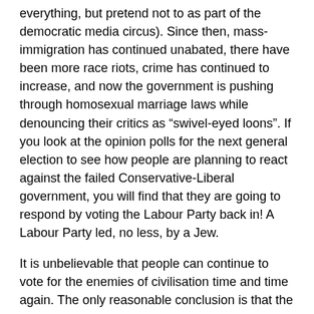everything, but pretend not to as part of the democratic media circus). Since then, mass-immigration has continued unabated, there have been more race riots, crime has continued to increase, and now the government is pushing through homosexual marriage laws while denouncing their critics as “swivel-eyed loons”. If you look at the opinion polls for the next general election to see how people are planning to react against the failed Conservative-Liberal government, you will find that they are going to respond by voting the Labour Party back in! A Labour Party led, no less, by a Jew.
It is unbelievable that people can continue to vote for the enemies of civilisation time and time again. The only reasonable conclusion is that the voters really do support their own national suicide.
Here’s the funny thing: in every election since 2001, less than half of the population has turned out to vote. Tens of millions of people are not even registered with the electoral roll, making them ineligible to vote. These apathetic people cannot